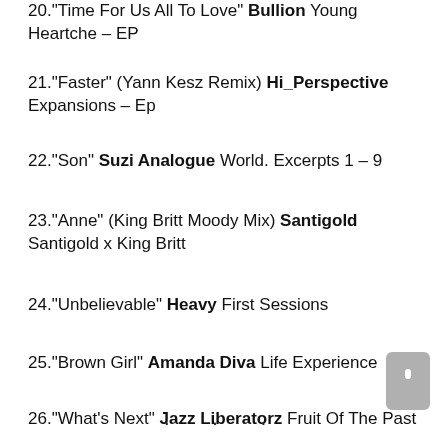20. "Time For Us All To Love" Bullion Young Heartche – EP
21."Faster" (Yann Kesz Remix) Hi_Perspective Expansions – Ep
22."Son" Suzi Analogue World. Excerpts 1 – 9
23."Anne" (King Britt Moody Mix) Santigold Santigold x King Britt
24."Unbelievable" Heavy First Sessions
25."Brown Girl" Amanda Diva Life Experience
26."What's Next" Jazz Liberatorz Fruit Of The Past